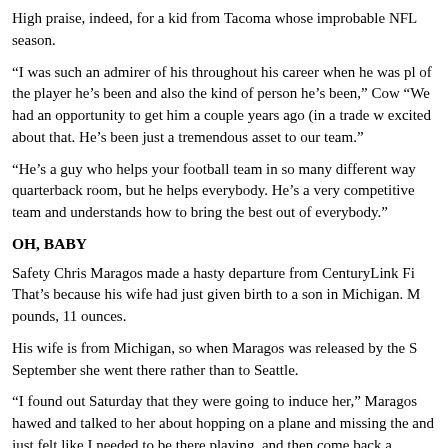High praise, indeed, for a kid from Tacoma whose improbable NFL season.
“I was such an admirer of his throughout his career when he was pl of the player he’s been and also the kind of person he’s been,” Cow “We had an opportunity to get him a couple years ago (in a trade w excited about that. He’s been just a tremendous asset to our team.”
“He’s a guy who helps your football team in so many different way quarterback room, but he helps everybody. He’s a very competitive team and understands how to bring the best out of everybody.”
OH, BABY
Safety Chris Maragos made a hasty departure from CenturyLink Fi That’s because his wife had just given birth to a son in Michigan. M pounds, 11 ounces.
His wife is from Michigan, so when Maragos was released by the S September she went there rather than to Seattle.
“I found out Saturday that they were going to induce her,” Maragos hawed and talked to her about hopping on a plane and missing the and just felt like I needed to be there playing, and then come back a
IN ’N OUT
Here’s the official injury report: